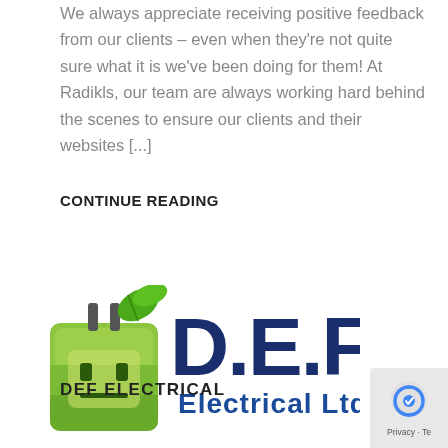We always appreciate receiving positive feedback from our clients – even when they're not quite sure what it is we've been doing for them! At Radikls, our team are always working hard behind the scenes to ensure our clients and their websites [...]
CONTINUE READING
[Figure (logo): D.E.F Electrical Ltd company logo with a green plug/plant icon on the left and dark blue block letters D.E.F with 'Electrical Ltd' below]
DEF ELECTRICAL